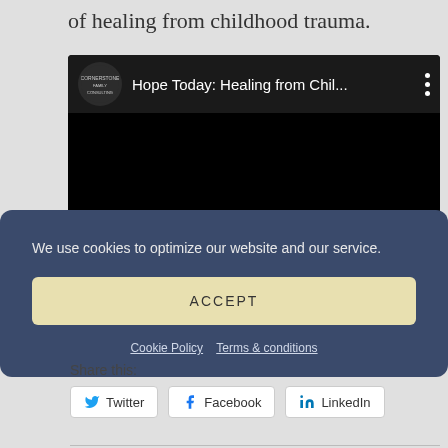of healing from childhood trauma.
[Figure (screenshot): Embedded video player showing 'Hope Today: Healing from Chil...' with logo and three-dot menu]
We use cookies to optimize our website and our service.
ACCEPT
Cookie Policy   Terms & conditions
Share this:
Twitter   Facebook   LinkedIn